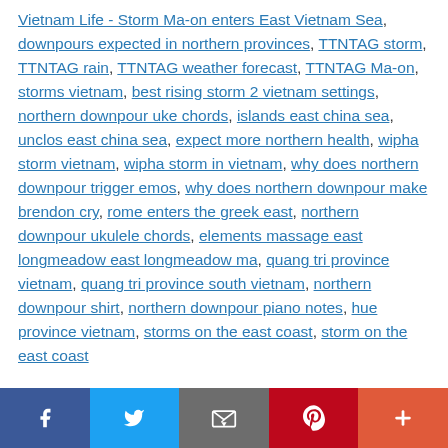Vietnam Life - Storm Ma-on enters East Vietnam Sea, downpours expected in northern provinces, TTNTAG storm, TTNTAG rain, TTNTAG weather forecast, TTNTAG Ma-on, storms vietnam, best rising storm 2 vietnam settings, northern downpour uke chords, islands east china sea, unclos east china sea, expect more northern health, wipha storm vietnam, wipha storm in vietnam, why does northern downpour trigger emos, why does northern downpour make brendon cry, rome enters the greek east, northern downpour ukulele chords, elements massage east longmeadow east longmeadow ma, quang tri province vietnam, quang tri province south vietnam, northern downpour shirt, northern downpour piano notes, hue province vietnam, storms on the east coast, storm on the east coast
Facebook Twitter Email Pinterest More